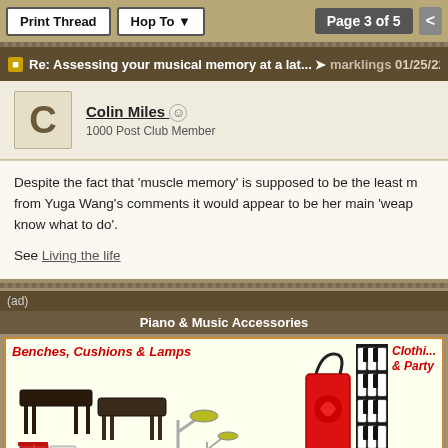Print Thread  Hop To ▼  Page 3 of 5  <
Re: Assessing your musical memory at a lat...  marklings  01/25/22
Colin Miles
1000 Post Club Member
Despite the fact that 'muscle memory' is supposed to be the least m... from Yuga Wang's comments it would appear to be her main 'weap... know what to do'.

See Living the life
(ad)
Piano & Music Accessories
[Figure (illustration): Advertisement banner showing piano benches, cushions, lamps, a red tote bag, piano keyboard accessories, and partially visible 'Clothing & Party' category text with piano keyboard illustration]